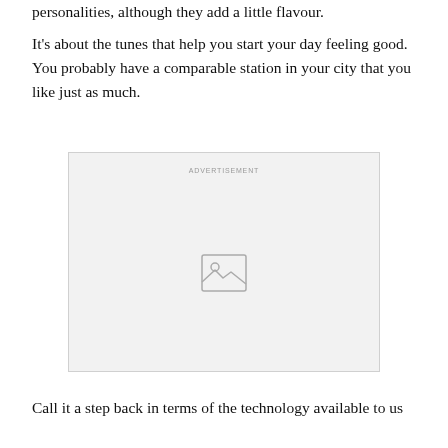personalities, although they add a little flavour.
It’s about the tunes that help you start your day feeling good. You probably have a comparable station in your city that you like just as much.
[Figure (other): Advertisement placeholder box with image icon and ADVERTISEMENT label]
Call it a step back in terms of the technology available to us